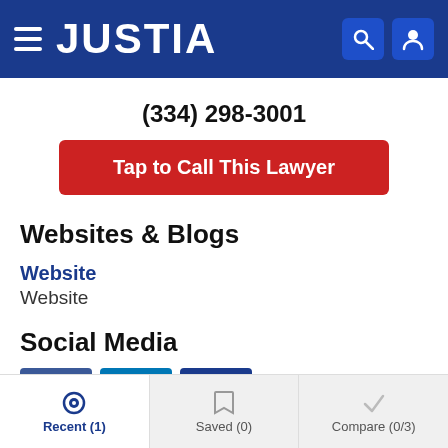JUSTIA
(334) 298-3001
Tap to Call This Lawyer
Websites & Blogs
Website
Website
Social Media
[Figure (illustration): Social media icons: Facebook, LinkedIn, and another platform]
Recent (1)   Saved (0)   Compare (0/3)